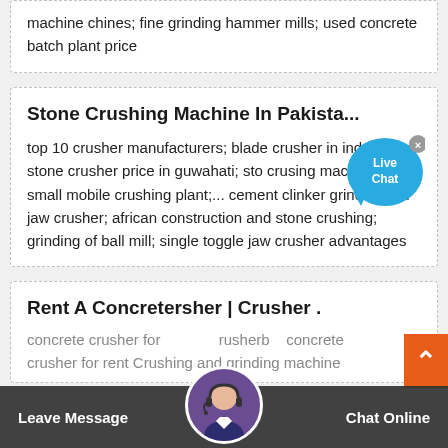machine chines; fine grinding hammer mills; used concrete batch plant price
Stone Crushing Machine In Pakista...
top 10 crusher manufacturers; blade crusher in indonesia; stone crusher price in guwahati; sto crusing machines; small mobile crushing plant;... cement clinker grinding mill jaw crusher; african construction and stone crushing; grinding of ball mill; single toggle jaw crusher advantages
Rent A Concrete Crusher | Crusher .
concrete crusher for crusher concrete crusher for rent Crushing and grinding machine